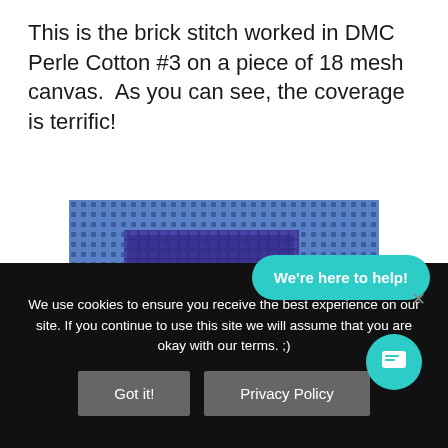This is the brick stitch worked in DMC Perle Cotton #3 on a piece of 18 mesh canvas.  As you can see, the coverage is terrific!
[Figure (photo): Close-up photo of needlepoint canvas showing brick stitch worked in DMC Perle Cotton. Blue canvas with a darker blue/purple stitched rectangle in the upper left portion, teal/green threads on the left edge, and gold/yellow horizontal stitches along the bottom. A faint watermark reads 'Splendor'.]
We use cookies to ensure you receive the best experience on our site. If you continue to use this site we will assume that you are okay with our terms. ;)
Got it!
Privacy Policy
We're here to help!